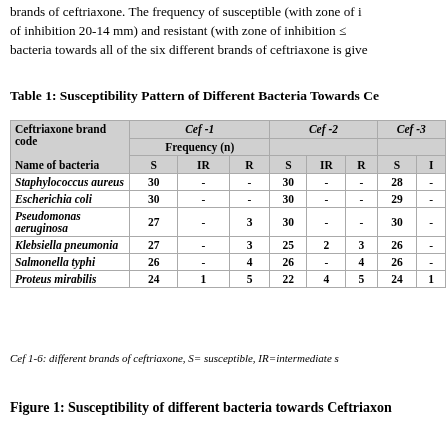brands of ceftriaxone. The frequency of susceptible (with zone of inhibition 20-14 mm) and resistant (with zone of inhibition ≤ bacteria towards all of the six different brands of ceftriaxone is given
Table 1: Susceptibility Pattern of Different Bacteria Towards Ce
| Ceftriaxone brand code | Cef-1 S | Cef-1 IR | Cef-1 R | Cef-2 S | Cef-2 IR | Cef-2 R | Cef-3 S | Cef-3 IR |
| --- | --- | --- | --- | --- | --- | --- | --- | --- |
| Staphylococcus aureus | 30 | - | - | 30 | - | - | 28 | - |
| Escherichia coli | 30 | - | - | 30 | - | - | 29 | - |
| Pseudomonas aeruginosa | 27 | - | 3 | 30 | - | - | 30 | - |
| Klebsiella pneumonia | 27 | - | 3 | 25 | 2 | 3 | 26 | - |
| Salmonella typhi | 26 | - | 4 | 26 | - | 4 | 26 | - |
| Proteus mirabilis | 24 | 1 | 5 | 22 | 4 | 5 | 24 | 1 |
Cef 1-6: different brands of ceftriaxone, S= susceptible, IR=intermediate s
Figure 1: Susceptibility of different bacteria towards Ceftriaxon